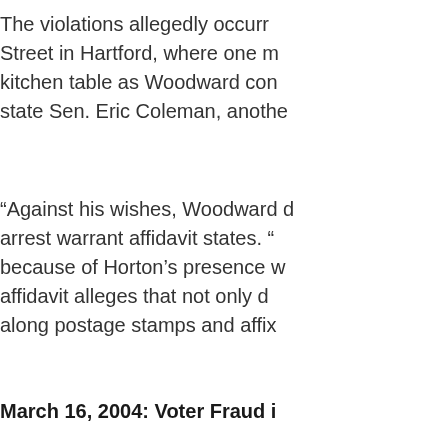The violations allegedly occurr… Street in Hartford, where one r… kitchen table as Woodward con… state Sen. Eric Coleman, anothe…
“Against his wishes, Woodward d… arrest warrant affidavit states. “… because of Horton’s presence w… affidavit alleges that not only d… along postage stamps and affix…
March 16, 2004: Voter Fraud i…